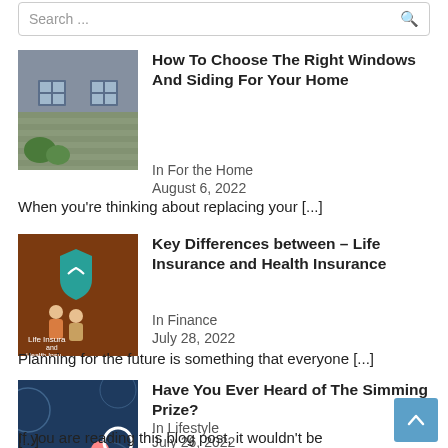Search ...
[Figure (photo): Exterior of a house showing windows and siding, grey tones]
How To Choose The Right Windows And Siding For Your Home
In For the Home
August 6, 2022
When you're thinking about replacing your [...]
[Figure (photo): Brown background with life insurance and health insurance graphic with teal shield icon and illustrated people]
Key Differences between – Life Insurance and Health Insurance
In Finance
July 28, 2022
Planning for the future is something that everyone [...]
[Figure (photo): Dark blue background with strategy text and illustrated person with magnifier]
Have You Ever Heard of The Simming Prize?
In Lifestyle
July 26, 2022
If you are reading this blog post, it wouldn't be [...]